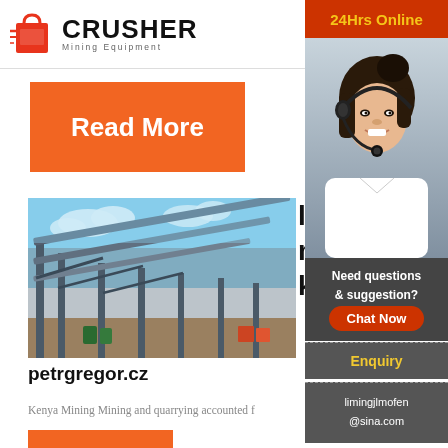[Figure (logo): CRUSHER Mining Equipment logo with shopping bag icon]
[Figure (other): Orange Read More button]
[Figure (photo): Industrial mining conveyor/crusher equipment against blue sky]
limestone mining kenya
petrgregor.cz
Kenya Mining Mining and quarrying accounted f...
[Figure (photo): 24Hrs Online customer service representative sidebar with chat options]
24Hrs Online
Need questions & suggestion?
Chat Now
Enquiry
limingjlmofen@sina.com